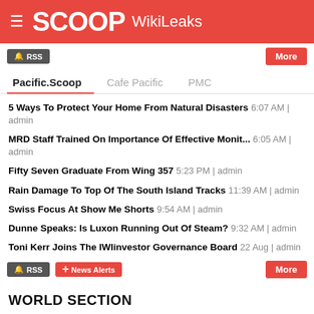SCOOP WikiLeaks
RSS | More
Pacific.Scoop | Cafe Pacific | PMC
5 Ways To Protect Your Home From Natural Disasters 6:07 AM | admin
MRD Staff Trained On Importance Of Effective Monit... 6:05 AM | admin
Fifty Seven Graduate From Wing 357 5:23 PM | admin
Rain Damage To Top Of The South Island Tracks 11:39 AM | admin
Swiss Focus At Show Me Shorts 9:54 AM | admin
Dunne Speaks: Is Luxon Running Out Of Steam? 9:32 AM | admin
Toni Kerr Joins The IWlinvestor Governance Board 22 Aug | admin
RSS | News Alerts | More
WORLD SECTION